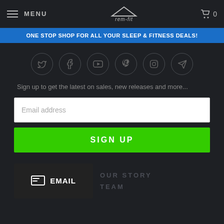MENU | Rem-Fit logo | Cart 0
ONE STOP SHOP FOR ALL YOUR SLEEP & FITNESS DEALS!
[Figure (infographic): Row of 6 social media icon circles: Twitter, Facebook, YouTube, Pinterest, Instagram, Telegram/Send]
Sign up to get the latest on sales, new releases and more...
Email address
SIGN UP
OUR STORY
EMAIL
TEAM